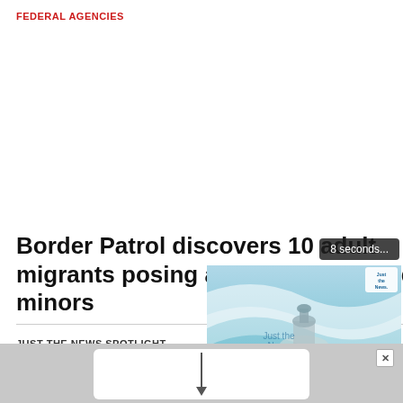FEDERAL AGENCIES
Border Patrol discovers 10 adult migrants posing as unaccompanied minors
JUST THE NEWS SPOTLIGHT
[Figure (screenshot): Video player overlay showing 'Just the News Minute' with a timer reading '8 seconds...' and playback controls at the bottom]
[Figure (photo): Partial advertisement banner at the bottom of the page with a white card and an arrow graphic, with an X close button]